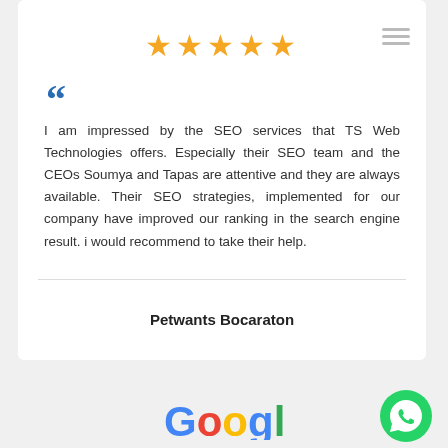[Figure (other): Five gold star rating icons]
““
I am impressed by the SEO services that TS Web Technologies offers. Especially their SEO team and the CEOs Soumya and Tapas are attentive and they are always available. Their SEO strategies, implemented for our company have improved our ranking in the search engine result. i would recommend to take their help.
Petwants Bocaraton
[Figure (logo): Google logo in multicolor letters]
[Figure (logo): WhatsApp green circle phone icon]